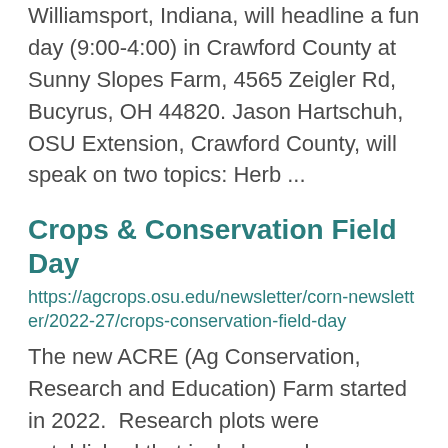Williamsport, Indiana, will headline a fun day (9:00-4:00) in Crawford County at Sunny Slopes Farm, 4565 Zeigler Rd, Bucyrus, OH 44820. Jason Hartschuh, OSU Extension, Crawford County, will speak on two topics: Herb ...
Crops & Conservation Field Day
https://agcrops.osu.edu/newsletter/corn-newsletter/2022-27/crops-conservation-field-day
The new ACRE (Ag Conservation, Research and Education) Farm started in 2022.  Research plots were established that include: soybean planting date, soybean relative maturity, and soybean fungicide/insecticide/herbicide. See...